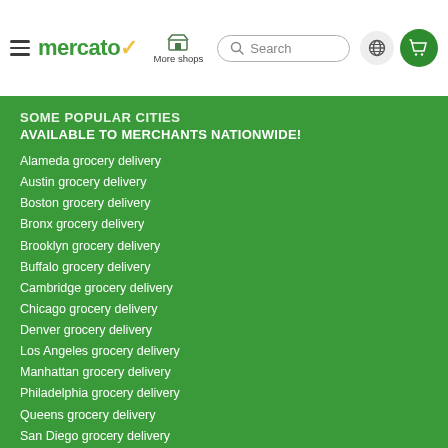mercato | More shops | Search | Globe | Cart
SOME POPULAR CITIES
AVAILABLE TO MERCHANTS NATIONWIDE!
Alameda grocery delivery
Austin grocery delivery
Boston grocery delivery
Bronx grocery delivery
Brooklyn grocery delivery
Buffalo grocery delivery
Cambridge grocery delivery
Chicago grocery delivery
Denver grocery delivery
Los Angeles grocery delivery
Manhattan grocery delivery
Philadelphia grocery delivery
Queens grocery delivery
San Diego grocery delivery
San Francisco grocery delivery